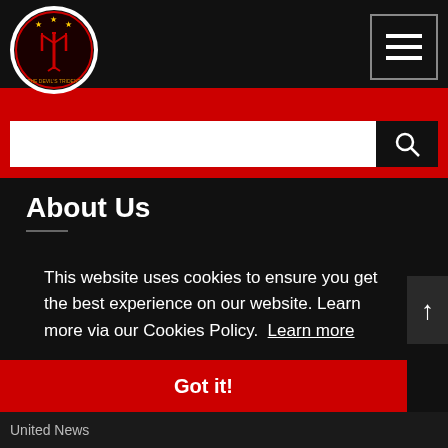The Devil's Trident - navigation header with logo and hamburger menu
About Us
The Devil's Trident is an Independant Manchester United Fan Site creating Podcasts & Blog Content.

We All Follow United.
This website uses cookies to ensure you get the best experience on our website. Learn more via our Cookies Policy. Learn more
Got it!
United News